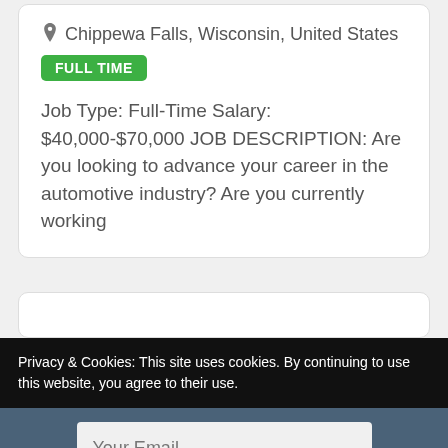Chippewa Falls, Wisconsin, United States
FULL TIME
Job Type: Full-Time Salary: $40,000-$70,000 JOB DESCRIPTION: Are you looking to advance your career in the automotive industry? Are you currently working
Privacy & Cookies: This site uses cookies. By continuing to use this website, you agree to their use.
Your Email
SUBSCRIBE!